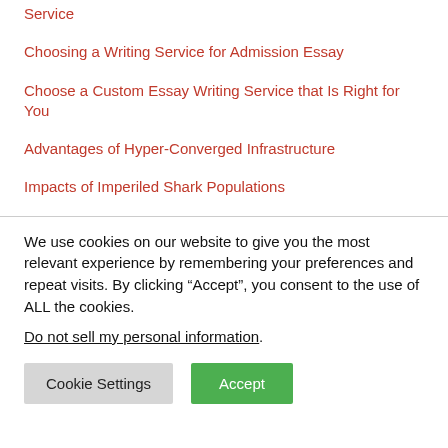Service
Choosing a Writing Service for Admission Essay
Choose a Custom Essay Writing Service that Is Right for You
Advantages of Hyper-Converged Infrastructure
Impacts of Imperiled Shark Populations
We use cookies on our website to give you the most relevant experience by remembering your preferences and repeat visits. By clicking “Accept”, you consent to the use of ALL the cookies.
Do not sell my personal information.
Cookie Settings   Accept